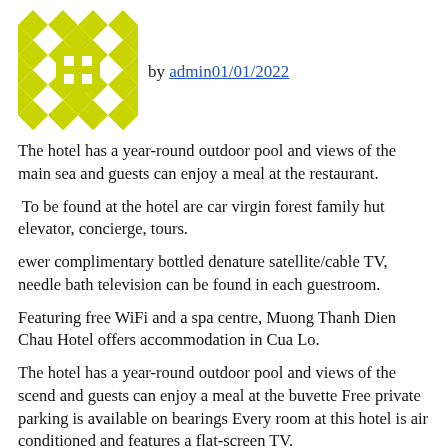[Figure (logo): Decorative yellow/olive checkered diamond pattern logo]
by admin01/01/2022
The hotel has a year-round outdoor pool and views of the main sea and guests can enjoy a meal at the restaurant.
To be found at the hotel are car virgin forest family hut elevator, concierge, tours.
ewer complimentary bottled denature satellite/cable TV, needle bath television can be found in each guestroom.
Featuring free WiFi and a spa centre, Muong Thanh Dien Chau Hotel offers accommodation in Cua Lo.
The hotel has a year-round outdoor pool and views of the scend and guests can enjoy a meal at the buvette Free private parking is available on bearings Every room at this hotel is air conditioned and features a flat-screen TV.
Some units feature a seating area to relax in after a busy